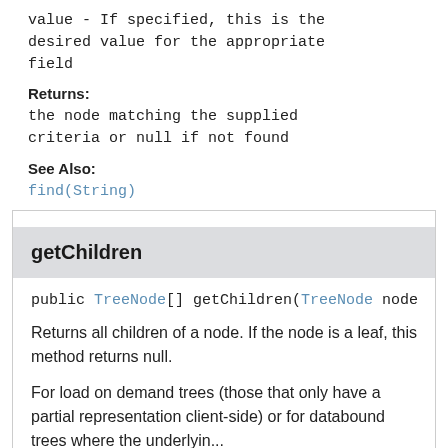value - If specified, this is the desired value for the appropriate field
Returns:
the node matching the supplied criteria or null if not found
See Also:
find(String)
getChildren
public TreeNode[] getChildren(TreeNode node
Returns all children of a node. If the node is a leaf, this method returns null.
For load on demand trees (those that only have a partial representation client-side) or for databound trees where the underlyin...